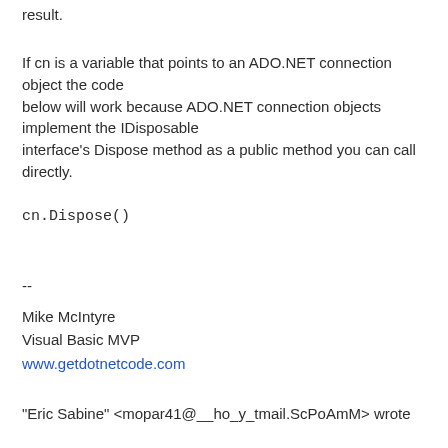result.
If cn is a variable that points to an ADO.NET connection object the code below will work because ADO.NET connection objects implement the IDisposable interface's Dispose method as a public method you can call directly.
cn.Dispose()
--
Mike McIntyre
Visual Basic MVP
www.getdotnetcode.com
"Eric Sabine" <mopar41@__ho_y_tmail.ScPoAmM> wrote